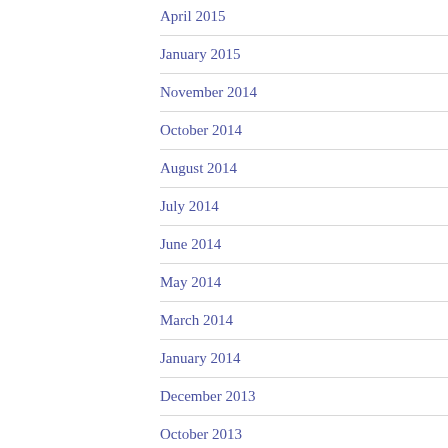April 2015
January 2015
November 2014
October 2014
August 2014
July 2014
June 2014
May 2014
March 2014
January 2014
December 2013
October 2013